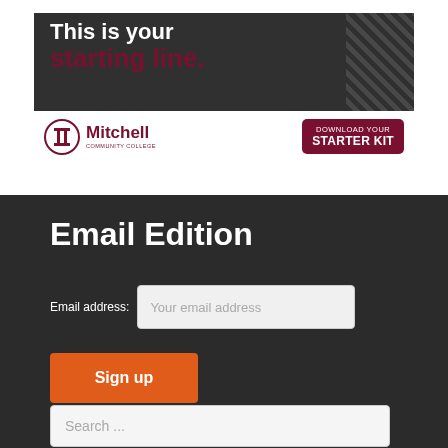[Figure (illustration): Mitchell Community College advertisement banner. Top portion shows dark background with text 'This is your starting line.' in white and dark red/maroon. Bottom portion shows Mitchell Community College logo and a 'DOWNLOAD YOUR STARTER KIT' button on maroon background.]
Email Edition
Email address: Your email address
Sign up
Search ...